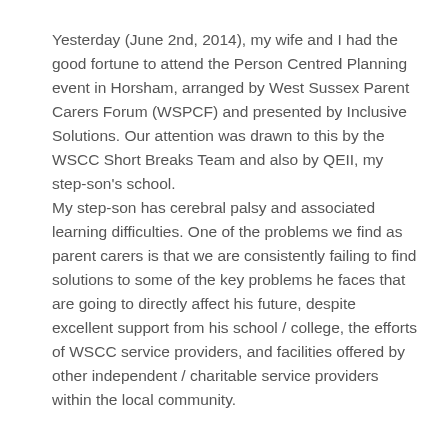Yesterday (June 2nd, 2014), my wife and I had the good fortune to attend the Person Centred Planning event in Horsham, arranged by West Sussex Parent Carers Forum (WSPCF) and presented by Inclusive Solutions. Our attention was drawn to this by the WSCC Short Breaks Team and also by QEII, my step-son's school. My step-son has cerebral palsy and associated learning difficulties. One of the problems we find as parent carers is that we are consistently failing to find solutions to some of the key problems he faces that are going to directly affect his future, despite excellent support from his school / college, the efforts of WSCC service providers, and facilities offered by other independent / charitable service providers within the local community.